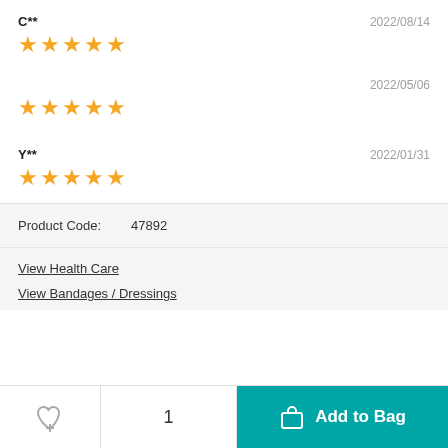C**   2022/08/14
[Figure (other): 5 gold stars rating]
2022/05/06
[Figure (other): 5 gold stars rating]
Y**   2022/01/31
[Figure (other): 5 gold stars rating]
Product Code:   47892
View Health Care
View Bandages / Dressings
Add to Bag